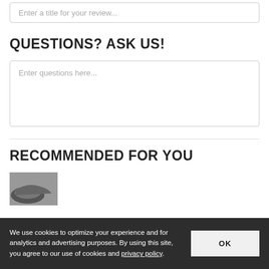Enter a title for your review...
QUESTIONS? ASK US!
Enter questions here...
RECOMMENDED FOR YOU
[Figure (photo): Partial product thumbnail image at bottom of page]
We use cookies to optimize your experience and for analytics and advertising purposes. By using this site, you agree to our use of cookies and privacy policy.